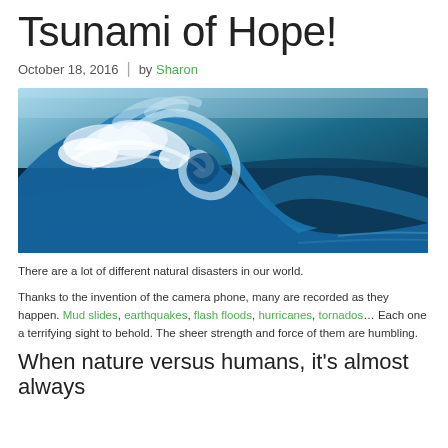Tsunami of Hope!
October 18, 2016  |  by Sharon
[Figure (photo): Large ocean wave curling and cresting, blue-green water with white foam, dramatic tsunami-like wave photographed close up]
There are a lot of different natural disasters in our world.
Thanks to the invention of the camera phone, many are recorded as they happen. Mud slides, earthquakes, flash floods, hurricanes, tornados… Each one a terrifying sight to behold. The sheer strength and force of them are humbling.
When nature versus humans, it's almost always